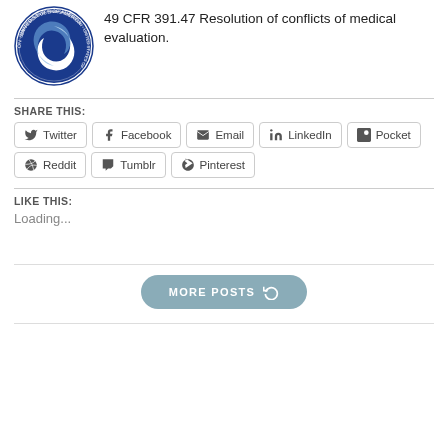[Figure (logo): US Department of Transportation circular seal logo, blue and white]
49 CFR 391.47 Resolution of conflicts of medical evaluation.
SHARE THIS:
Twitter
Facebook
Email
LinkedIn
Pocket
Reddit
Tumblr
Pinterest
LIKE THIS:
Loading...
MORE POSTS